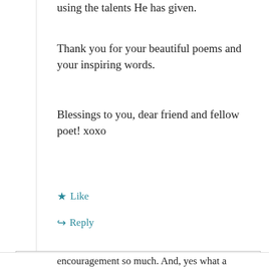using the talents He has given.
Thank you for your beautiful poems and your inspiring words.
Blessings to you, dear friend and fellow poet! xoxo
★ Like
↪ Reply
Privacy & Cookies: This site uses cookies. By continuing to use this website, you agree to their use.
To find out more, including how to control cookies, see here: Our Cookie Policy
Close and accept
encouragement so much. And, yes what a